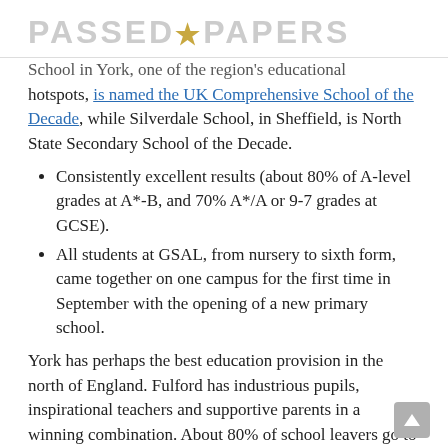PASSED★PAPERS
School in York, one of the region's educational hotspots, is named the UK Comprehensive School of the Decade, while Silverdale School, in Sheffield, is North State Secondary School of the Decade.
Consistently excellent results (about 80% of A-level grades at A*-B, and 70% A*/A or 9-7 grades at GCSE).
All students at GSAL, from nursery to sixth form, came together on one campus for the first time in September with the opening of a new primary school.
York has perhaps the best education provision in the north of England. Fulford has industrious pupils, inspirational teachers and supportive parents in a winning combination. About 80% of school leavers go to university — 25 of them to Oxbridge in the past five years — and a growing number opt for apprenticeships.